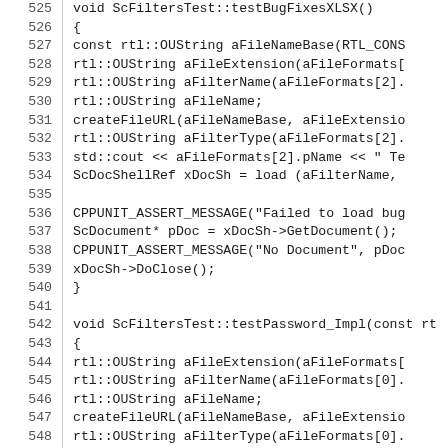[Figure (screenshot): Source code listing showing C++ functions ScFiltersTest::testBugFixesXLSX() and ScFiltersTest::testPassword_Impl(), with line numbers 525-554 visible on the left side.]